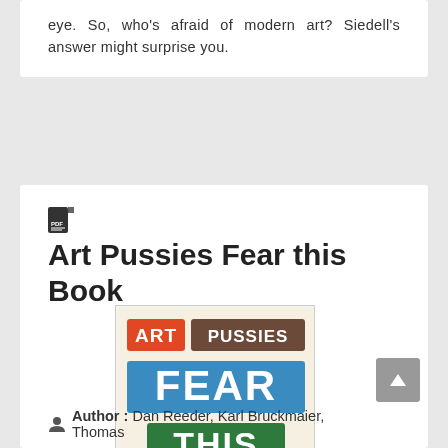eye. So, who's afraid of modern art? Siedell's answer might surprise you.
Art Pussies Fear this Book
[Figure (photo): Book cover of 'Art Pussies Fear this Book' with colorful block lettering: 'ART PUSSIES' in orange and brown, 'FEAR' in blue, 'THIS' in green, 'BOOK' in purple, on a cream background.]
Author : Dan Reeder, Karl Bruckmaier, Thomas